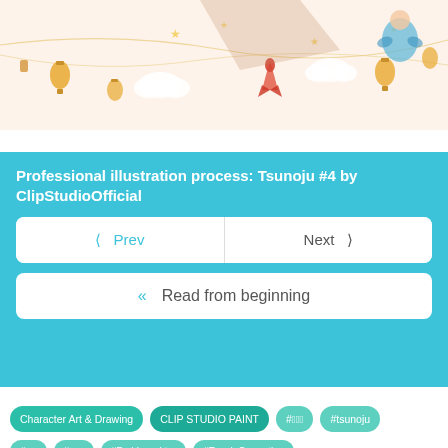[Figure (illustration): Partial view of a colorful illustration with lanterns, stars, clouds, and cartoon characters on a cream/peach background — top portion of an image cropped at top edge]
Professional illustration process: Tsunoju #4 by ClipStudioOfficial
< Prev
Next >
« Read from beginning
Character Art & Drawing
CLIP STUDIO PAINT
#津乃字
#tsunoju
#津乃字
#色調補正検証
#Farbkorrektur
#Tonal_Correction